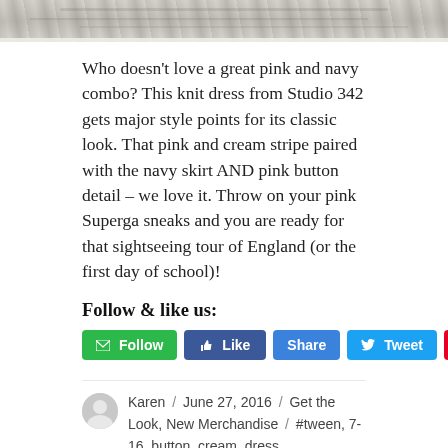[Figure (photo): Top portion of a photo, likely showing a textured outdoor surface (ground/pavement)]
Who doesn't love a great pink and navy combo? This knit dress from Studio 342 gets major style points for its classic look. That pink and cream stripe paired with the navy skirt AND pink button detail – we love it. Throw on your pink Superga sneaks and you are ready for that sightseeing tour of England (or the first day of school)!
Follow & like us:
Follow  Like  Share  Tweet  Save
Karen / June 27, 2016 / Get the Look, New Merchandise / #tween, 7-16, button, cream, dress, Florence Eiseman, fuxia, girls, kids, Laurelwood Shopping